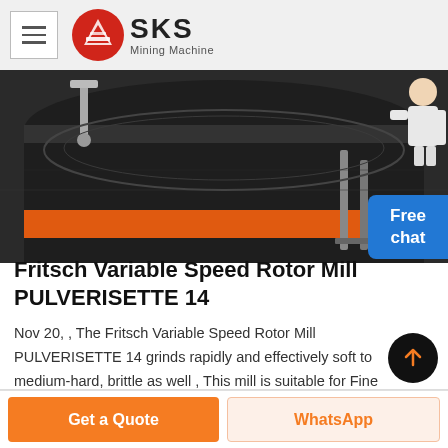SKS Mining Machine
[Figure (photo): Close-up photo of a Fritsch Variable Speed Rotor Mill PULVERISETTE 14 showing dark cylindrical body with orange ring and metal fittings]
Fritsch Variable Speed Rotor Mill PULVERISETTE 14
Nov 20, , The Fritsch Variable Speed Rotor Mill PULVERISETTE 14 grinds rapidly and effectively soft to medium-hard, brittle as well , This mill is suitable for Fine Grinding of Temperature-Sensitive Samples , Photo Gallery Slideshow.